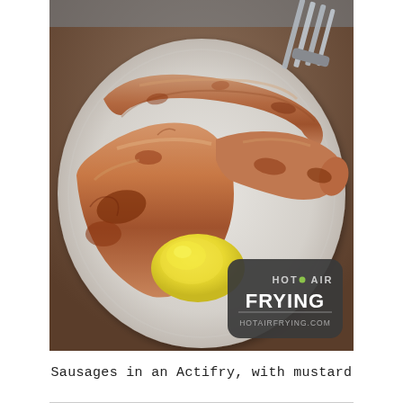[Figure (photo): A close-up photograph of two cooked sausages on a white ceramic plate, with a dollop of yellow mustard between them. A metal fork is visible in the upper right. A circular dark grey logo overlay in the lower right reads 'HOT AIR FRYING' and 'HOTAIRFRYING.COM'. The plate sits on a wooden surface.]
Sausages in an Actifry, with mustard